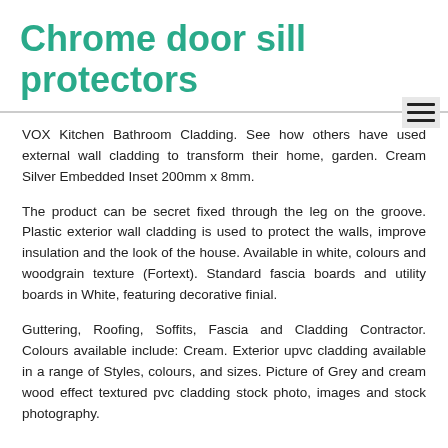Chrome door sill protectors
VOX Kitchen Bathroom Cladding. See how others have used external wall cladding to transform their home, garden. Cream Silver Embedded Inset 200mm x 8mm.
The product can be secret fixed through the leg on the groove. Plastic exterior wall cladding is used to protect the walls, improve insulation and the look of the house. Available in white, colours and woodgrain texture (Fortext). Standard fascia boards and utility boards in White, featuring decorative finial.
Guttering, Roofing, Soffits, Fascia and Cladding Contractor. Colours available include: Cream. Exterior upvc cladding available in a range of Styles, colours, and sizes. Picture of Grey and cream wood effect textured pvc cladding stock photo, images and stock photography.